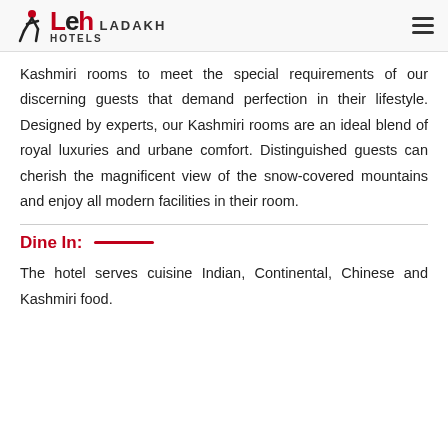Leh Ladakh Hotels
Kashmiri rooms to meet the special requirements of our discerning guests that demand perfection in their lifestyle. Designed by experts, our Kashmiri rooms are an ideal blend of royal luxuries and urbane comfort. Distinguished guests can cherish the magnificent view of the snow-covered mountains and enjoy all modern facilities in their room.
Dine In:
The hotel serves cuisine Indian, Continental, Chinese and Kashmiri food.